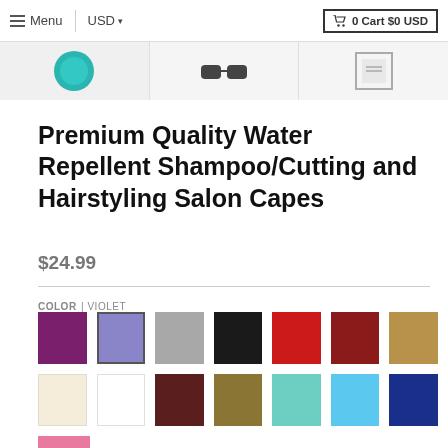Menu | USD ▾   🛒 0 Cart $0 USD
[Figure (photo): Product image thumbnails strip showing salon capes — teal, dark, and bordered variants]
Premium Quality Water Repellent Shampoo/Cutting and Hairstyling Salon Capes
$24.99
COLOR | VIOLET
[Figure (other): Color swatches grid: row 1: purple, violet (selected), gray, black, red, dark red, tan/gold; row 2: cream, white, dark brown, dark tan, teal/mint, sky blue, navy; row 3 partial: pink]